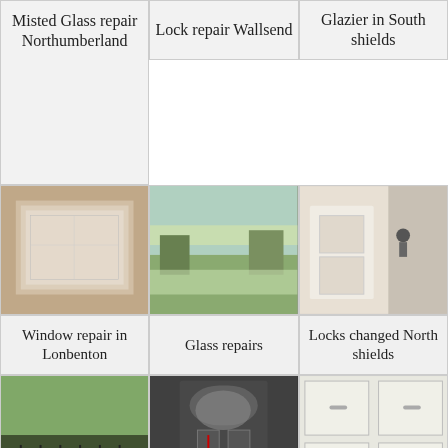Misted Glass repair Northumberland
Lock repair Wallsend
Glazier in South shields
[Figure (photo): Frosted/misted double-glazed window panel viewed from inside]
[Figure (photo): View through open window showing garden and houses]
[Figure (photo): White door frame and wall with lock mechanism visible]
Window repair in Lonbenton
Glass repairs
Locks changed North shields
[Figure (photo): Exterior view looking down from window at iron railings and garden]
[Figure (photo): Dark composite front door with decorative glazed panels and arch]
[Figure (photo): White kitchen/storage cabinet units with handles]
Glass repairs
UPVC Door
Lock repair